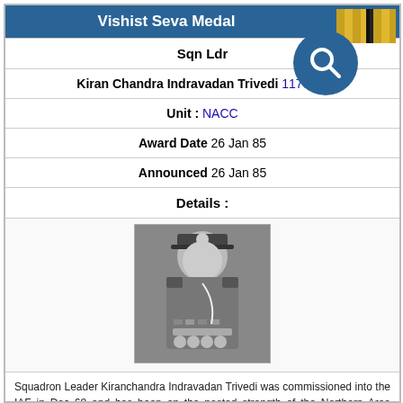Vishist Seva Medal
Sqn Ldr
Kiran Chandra Indravadan Trivedi 11788 F
Unit : NACC
Award Date 26 Jan 85
Announced 26 Jan 85
Details :
[Figure (photo): Black and white portrait photo of Squadron Leader Kiranchandra Indravadan Trivedi in military uniform with cap, medals, and insignia.]
Squadron Leader Kiranchandra Indravadan Trivedi was commissioned into the IAF in Dec 68 and has been on the posted strength of the Northern Area Control Centre, since 04 Jan 82. As Senior Meteorological Officer, he is looking after meteorological aspects and services being rendered by NACC & AOC (J&K) to all the units, Dropping Zones and Advanced Landing Grounds in Jammu and